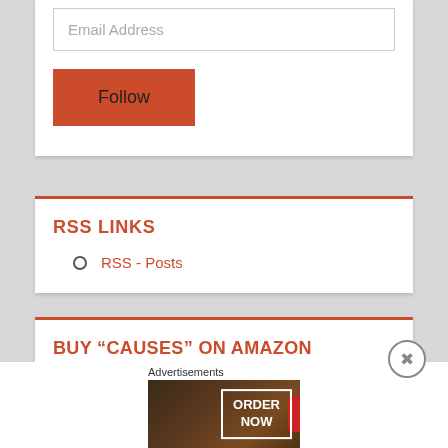Email Address
Follow
RSS LINKS
RSS - Posts
BUY “CAUSES” ON AMAZON
Advertisements
[Figure (screenshot): Seamless food ordering advertisement banner with pizza image on dark background, seamless logo in red, and ORDER NOW button with white border]